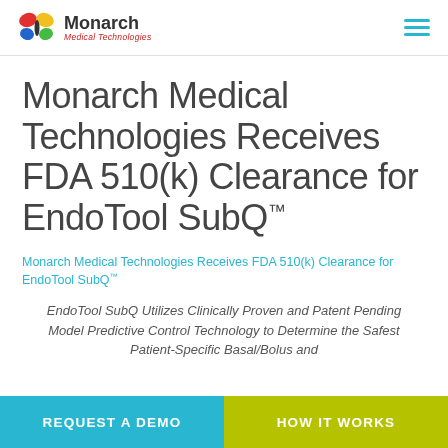[Figure (logo): Monarch Medical Technologies logo with butterfly icon and company name]
Monarch Medical Technologies Receives FDA 510(k) Clearance for EndoTool SubQ™
Monarch Medical Technologies Receives FDA 510(k) Clearance for EndoTool SubQ™
EndoTool SubQ Utilizes Clinically Proven and Patent Pending Model Predictive Control Technology to Determine the Safest Patient-Specific Basal/Bolus and
REQUEST A DEMO
HOW IT WORKS